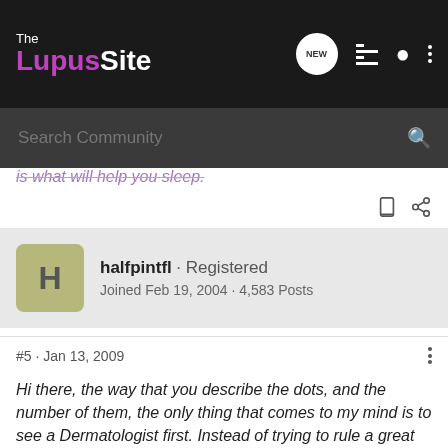The Lupus Site
Search Community
halfpintfl · Registered
Joined Feb 19, 2004 · 4,583 Posts
#5 · Jan 13, 2009
Hi there, the way that you describe the dots, and the number of them, the only thing that comes to my mind is to see a Dermatologist first. Instead of trying to rule a great number of other diseases, I would go right to the source, and that would be a Dermy. His speciality is one thing----skin, and your whole